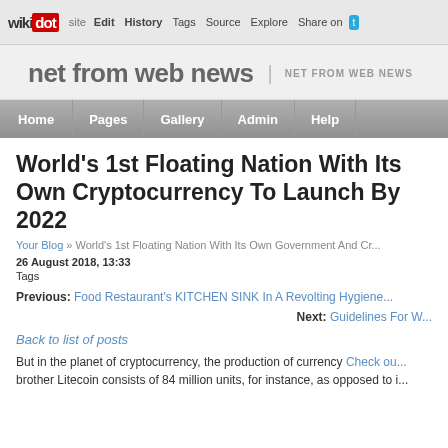wikidot | Edit | History | Tags | Source | Explore | Share on [Twitter]
net from web news | NET FROM WEB NEWS
Home | Pages | Gallery | Admin | Help
World's 1st Floating Nation With Its Own Cryptocurrency To Launch By 2022
Your Blog » World's 1st Floating Nation With Its Own Government And Cr...
26 August 2018, 13:33
Tags
Previous: Food Restaurant's KITCHEN SINK In A Revolting Hygiene...
Next: Guidelines For W...
Back to list of posts
But in the planet of cryptocurrency, the production of currency Check ou... brother Litecoin consists of 84 million units, for instance, as opposed to i...